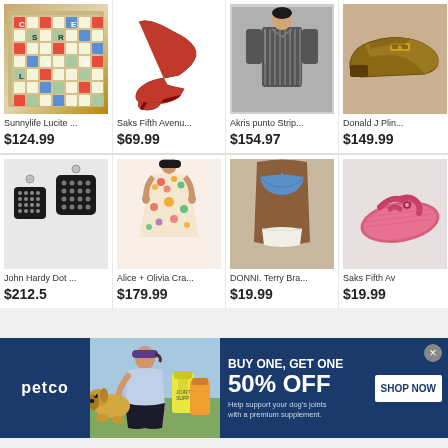[Figure (screenshot): E-commerce product grid showing 8 items in 2 rows of 4, followed by a Petco advertisement banner]
Sunnylife Lucite ...
$124.99
Saks Fifth Avenu...
$69.99
Akris punto Strip...
$154.97
Donald J Plin...
$149.99
John Hardy Dot ...
$212.5
Alice + Olivia Cra...
$179.99
DONNI. Terry Bra...
$19.99
Saks Fifth Av
$19.99
[Figure (infographic): Petco advertisement banner: BUY ONE, GET ONE 50% OFF - Help support your dog's joints with a premium supplement. SHOP NOW button. Shows woman with dog and supplement bottles.]